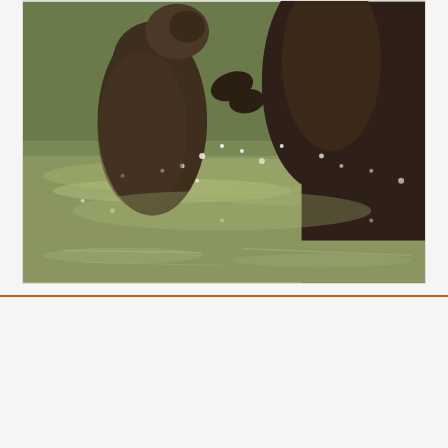[Figure (photo): Two otters playing/wrestling in shallow water, one gripping the other with its paws. Brown fur, water splashing around them, sunlit scene.]
We use cookies on this site to enhance your user experience. By using our website you are giving your consent for us to set cookies. More info
OK